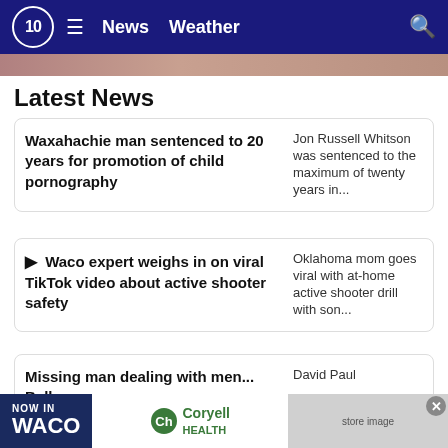10 News | News  Weather
[Figure (screenshot): Partial hero image strip at top]
Latest News
Waxahachie man sentenced to 20 years for promotion of child pornography
[Figure (photo): Jon Russell Whitson was sentenced to the maximum of twenty years in...]
▶ Waco expert weighs in on viral TikTok video about active shooter safety
[Figure (photo): Oklahoma mom goes viral with at-home active shooter drill with son...]
Missing man dealing with men... Bell...
[Figure (photo): David Paul]
[Figure (screenshot): NOW IN WACO – Coryell Health advertisement banner with store image]